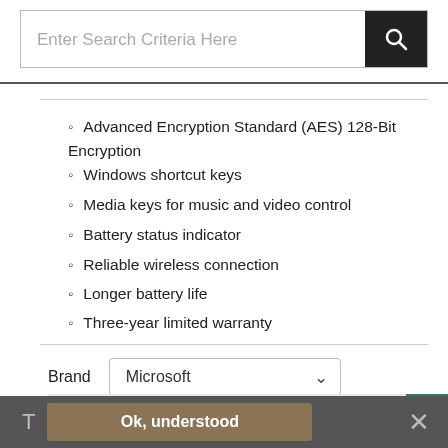[Figure (screenshot): Search bar with text 'Enter Search Criteria Here' and dark search button with magnifying glass icon]
Advanced Encryption Standard (AES) 128-Bit Encryption
Windows shortcut keys
Media keys for music and video control
Battery status indicator
Reliable wireless connection
Longer battery life
Three-year limited warranty
Brand  Microsoft
£19.88
Inc. VAT £23.86
Ok, understood